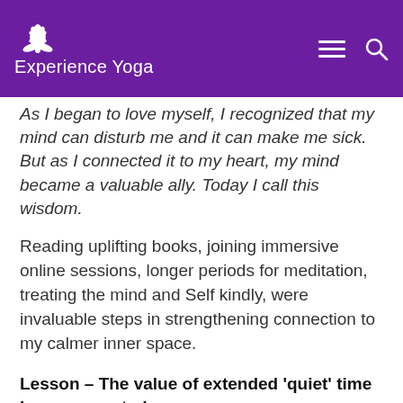Experience Yoga
As I began to love myself, I recognized that my mind can disturb me and it can make me sick. But as I connected it to my heart, my mind became a valuable ally. Today I call this wisdom.
Reading uplifting books, joining immersive online sessions, longer periods for meditation, treating the mind and Self kindly, were invaluable steps in strengthening connection to my calmer inner space.
Lesson – The value of extended 'quiet' time is never wasted.